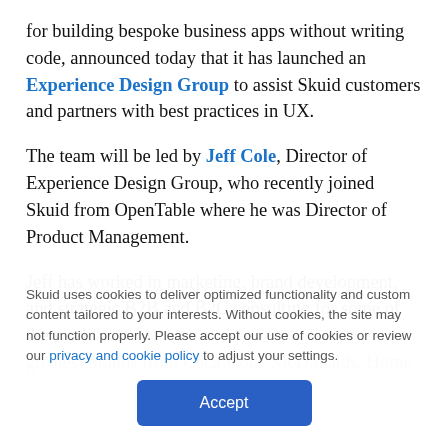for building bespoke business apps without writing code, announced today that it has launched an Experience Design Group to assist Skuid customers and partners with best practices in UX.
The team will be led by Jeff Cole, Director of Experience Design Group, who recently joined Skuid from OpenTable where he was Director of Product Management.
Jeff has worked in marketing, brand development, and strategic B2B and B2C consulting for some of the world's greatest brands from Coca-Cola, McDonalds, Home...
Skuid uses cookies to deliver optimized functionality and custom content tailored to your interests. Without cookies, the site may not function properly. Please accept our use of cookies or review our privacy and cookie policy to adjust your settings.